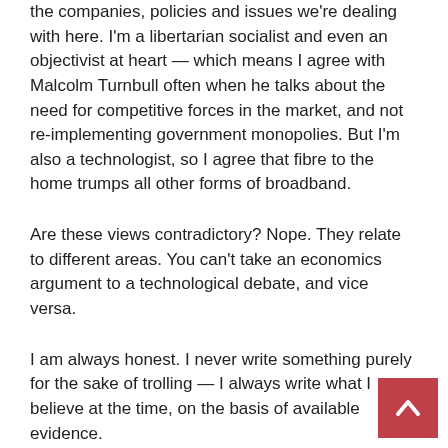the companies, policies and issues we're dealing with here. I'm a libertarian socialist and even an objectivist at heart — which means I agree with Malcolm Turnbull often when he talks about the need for competitive forces in the market, and not re-implementing government monopolies. But I'm also a technologist, so I agree that fibre to the home trumps all other forms of broadband.
Are these views contradictory? Nope. They relate to different areas. You can't take an economics argument to a technological debate, and vice versa.
I am always honest. I never write something purely for the sake of trolling — I always write what I believe at the time, on the basis of available evidence.
Renai